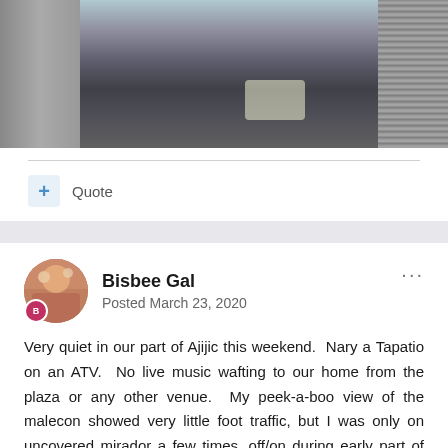[Figure (photo): A narrow market alley or covered walkway with closed metal roller shutters on both sides and a stone/brick paved floor. A metal table or shelf is visible on the left. Light streams from the far end of the alley.]
+ Quote
Bisbee Gal
Posted March 23, 2020
Very quiet in our part of Ajijic this weekend.  Nary a Tapatio on an ATV.  No live music wafting to our home from the plaza or any other venue.  My peek-a-boo view of the malecon showed very little foot traffic, but I was only on uncovered mirador a few times, off/on during early part of Sat. and Sun.